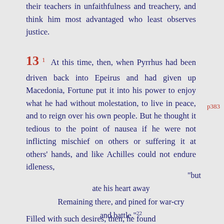their teachers in unfaithfulness and treachery, and think him most advantaged who least observes justice.
13 1 At this time, then, when Pyrrhus had been driven back into Epeirus and had given up Macedonia, Fortune put it into his power to enjoy what he had without molestation, to live in peace, and to reign over his own people. But he thought it tedious to the point of nausea if he were not inflicting mischief on others or suffering it at others' hands, and like Achilles could not endure idleness,
p383
"but ate his heart away Remaining there, and pined for war-cry and battle." 22
Filled with such desires, then, he found